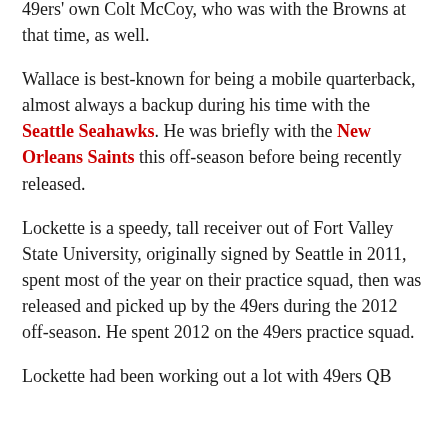49ers' own Colt McCoy, who was with the Browns at that time, as well.
Wallace is best-known for being a mobile quarterback, almost always a backup during his time with the Seattle Seahawks. He was briefly with the New Orleans Saints this off-season before being recently released.
Lockette is a speedy, tall receiver out of Fort Valley State University, originally signed by Seattle in 2011, spent most of the year on their practice squad, then was released and picked up by the 49ers during the 2012 off-season. He spent 2012 on the 49ers practice squad.
Lockette had been working out a lot with 49ers QB